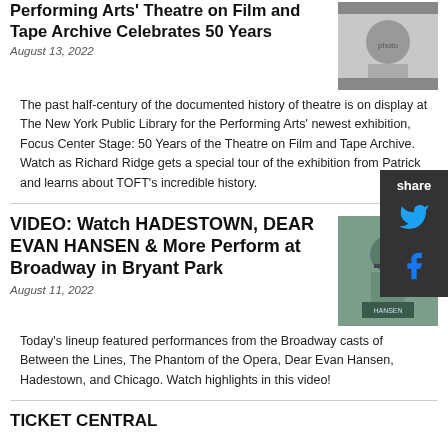Performing Arts' Theatre on Film and Tape Archive Celebrates 50 Years
August 13, 2022
[Figure (photo): Photo of a man in a suit holding film]
The past half-century of the documented history of theatre is on display at The New York Public Library for the Performing Arts' newest exhibition, Focus Center Stage: 50 Years of the Theatre on Film and Tape Archive. Watch as Richard Ridge gets a special tour of the exhibition from Patrick and learns about TOFT's incredible history.
VIDEO: Watch HADESTOWN, DEAR EVAN HANSEN & More Perform at Broadway in Bryant Park
August 11, 2022
[Figure (photo): Photo of a performer singing at a microphone wearing a Dear Evan Hansen shirt]
Today's lineup featured performances from the Broadway casts of Between the Lines, The Phantom of the Opera, Dear Evan Hansen, Hadestown, and Chicago. Watch highlights in this video!
TICKET CENTRAL